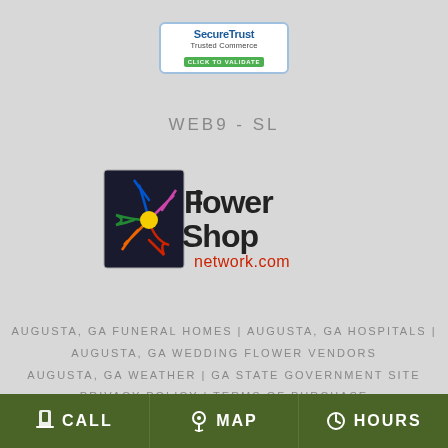[Figure (logo): SecureTrust Trusted Commerce badge with blue border, white background, showing 'SecureTrust' in blue bold text, 'Trusted Commerce' below, and green 'CLICK TO VALIDATE' button]
WEB9 - SL
[Figure (logo): Flower Shop Network logo with colorful flower graphic on dark square background, text 'Flower Shop network.com']
AUGUSTA, GA FUNERAL HOMES | AUGUSTA, GA HOSPITALS | AUGUSTA, GA WEDDING FLOWER VENDORS
AUGUSTA, GA WEATHER | GA STATE GOVERNMENT SITE
PRIVACY POLICY | TERMS OF PURCHASE
CALL  MAP  HOURS